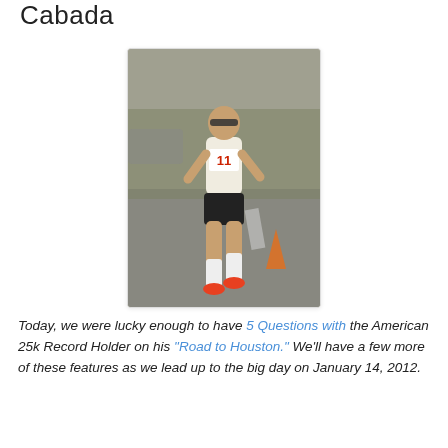Cabada
[Figure (photo): A male runner wearing bib number 11, white tank top, black shorts, white compression socks, and orange shoes, running on a road during a race.]
Today, we were lucky enough to have 5 Questions with the American 25k Record Holder on his "Road to Houston." We'll have a few more of these features as we lead up to the big day on January 14, 2012.